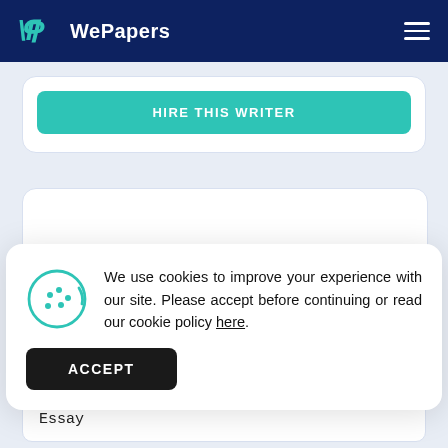WePapers
HIRE THIS WRITER
We use cookies to improve your experience with our site. Please accept before continuing or read our cookie policy here.
ACCEPT
Type of Paper
Essay